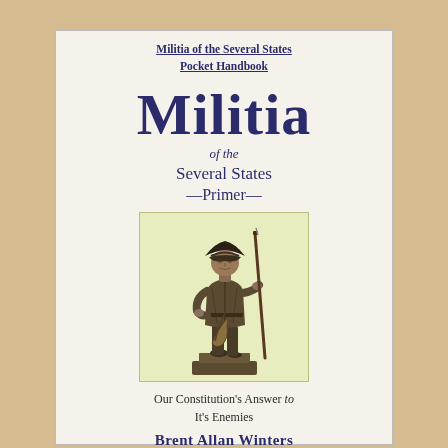Militia of the Several States Pocket Handbook
Militia
of the Several States —Primer—
[Figure (illustration): Illustration of a colonial minuteman/militia soldier statue standing with a musket and horn, on a base, rendered in pen-and-ink style on a light yellow-green background.]
Our Constitution's Answer to It's Enemies
Brent Allan Winters